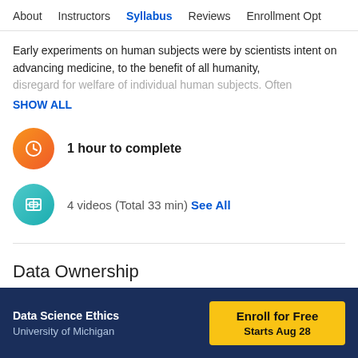About | Instructors | Syllabus | Reviews | Enrollment Opt
Early experiments on human subjects were by scientists intent on advancing medicine, to the benefit of all humanity, disregard for welfare of individual human subjects. Often
SHOW ALL
1 hour to complete
4 videos (Total 33 min)  See All
Data Ownership
Data Science Ethics
University of Michigan
Enroll for Free
Starts Aug 28